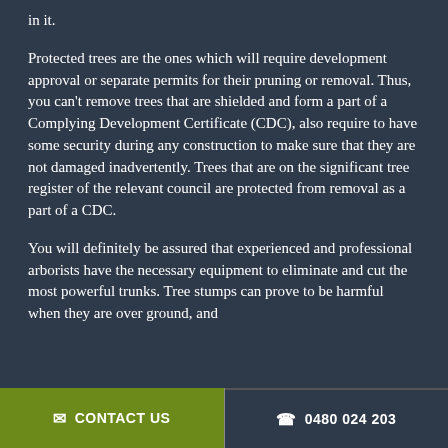in it.
Protected trees are the ones which will require development approval or separate permits for their pruning or removal. Thus, you can't remove trees that are shielded and form a part of a Complying Development Certificate (CDC), also require to have some security during any construction to make sure that they are not damaged inadvertently. Trees that are on the significant tree register of the relevant council are protected from removal as a part of a CDC.
You will definitely be assured that experienced and professional arborists have the necessary equipment to eliminate and cut the most powerful trunks. Tree stumps can prove to be harmful when they are over ground, and
✉ CONTACT US   ☎ 0480 024 203